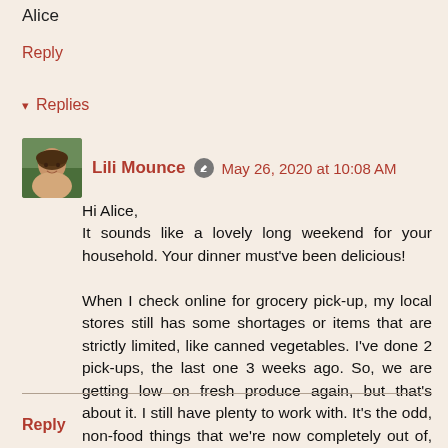Alice
Reply
▾ Replies
[Figure (photo): Small avatar photo of Lili Mounce, a woman with brown hair, shown from shoulders up against a green outdoors background.]
Lili Mounce 🖊 May 26, 2020 at 10:08 AM
Hi Alice,
It sounds like a lovely long weekend for your household. Your dinner must've been delicious!

When I check online for grocery pick-up, my local stores still has some shortages or items that are strictly limited, like canned vegetables. I've done 2 pick-ups, the last one 3 weeks ago. So, we are getting low on fresh produce again, but that's about it. I still have plenty to work with. It's the odd, non-food things that we're now completely out of, like bandaids, pain relievers, and some vitamins.
Reply